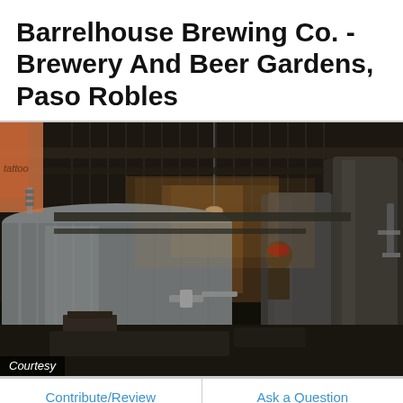Barrelhouse Brewing Co. - Brewery And Beer Gardens, Paso Robles
[Figure (photo): Interior of Barrelhouse Brewing Co. showing large stainless steel fermentation tanks, industrial ceiling with hanging lights and cables, a worker visible in the background, brewery equipment in a large warehouse-style space.]
Courtesy
Contribute/Review
Ask a Question
Create your Itinerary